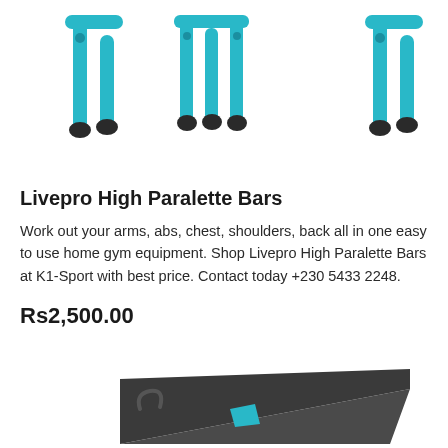[Figure (photo): Three Livepro High Paralette Bars with turquoise/cyan metal frames and black rubber feet, shown against white background, partially cropped at top]
Livepro High Paralette Bars
Work out your arms, abs, chest, shoulders, back all in one easy to use home gym equipment. Shop Livepro High Paralette Bars at K1-Sport with best price. Contact today +230 5433 2248.
Rs2,500.00
[Figure (photo): Dark grey folded gym mat or exercise mat with a turquoise/cyan logo and carrying handle, partially visible at bottom of page]